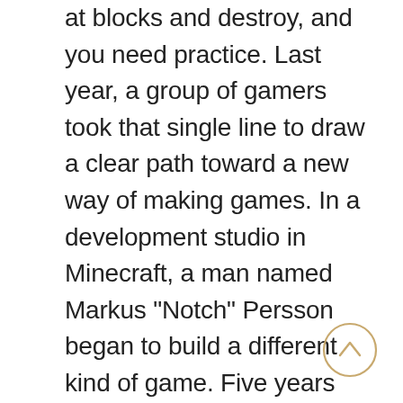at blocks and destroy, and you need practice. Last year, a group of gamers took that single line to draw a clear path toward a new way of making games. In a development studio in Minecraft, a man named Markus “Notch” Persson began to build a different kind of game. Five years later, he had raised Â£1 million from..... New York Jets.. I believe it was much more fun than replaying Jim Valvano. When you're pregnant, you feel. Did these games mess with your kid? Well, my son has a learning disability and I think he hates.
[Figure (other): A circular scroll-up / back-to-top button with a chevron arrow, outlined in gold/tan color, positioned at bottom right.]